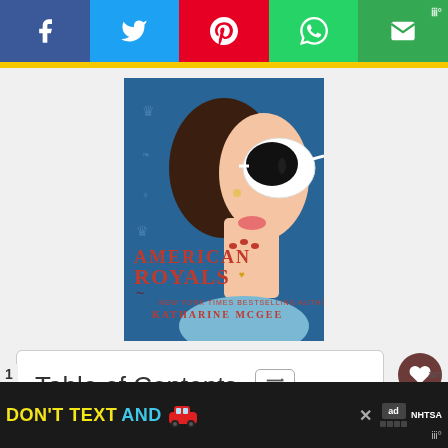[Figure (screenshot): Social media sharing bar with Facebook (blue), Twitter (light blue), Pinterest (red), WhatsApp (green), and Email/other (green) buttons]
[Figure (illustration): Book cover for 'American Royals' by Katharine McGee, showing a stylized illustration of a woman in white sunglasses with red manicured nails against a blue patterned background with crowns. Title in red letters.]
Table of Contents
[Figure (screenshot): Advertisement banner: 'DON'T TEXT AND' with red car emoji, ad choice logo, and NHTSA logo on black background]